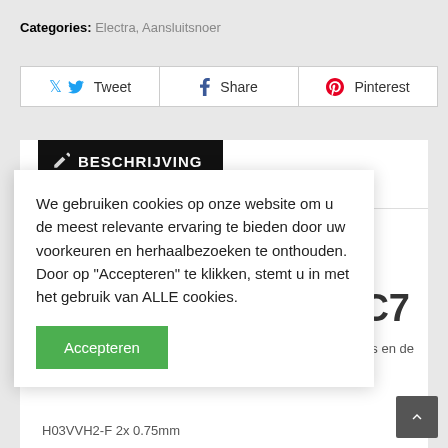Categories: Electra, Aansluitsnoer
[Figure (screenshot): Social sharing buttons: Tweet (Twitter), Share (Facebook), Pinterest]
BESCHRIJVING
blat C7
ptops en de
We gebruiken cookies op onze website om u de meest relevante ervaring te bieden door uw voorkeuren en herhaalbezoeken te onthouden. Door op "Accepteren" te klikken, stemt u in met het gebruik van ALLE cookies.
Accepteren
H03VVH2-F 2x 0.75mm